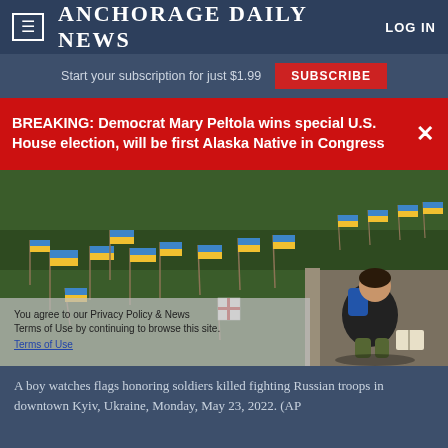≡  ANCHORAGE DAILY NEWS  LOG IN
Start your subscription for just $1.99   SUBSCRIBE
BREAKING: Democrat Mary Peltola wins special U.S. House election, will be first Alaska Native in Congress
[Figure (photo): A boy kneeling on pavement watching Ukrainian flags (blue and yellow) planted in grass honoring soldiers killed fighting Russian troops, with a book open beside him. Downtown Kyiv, Ukraine, Monday, May 23, 2022.]
A boy watches flags honoring soldiers killed fighting Russian troops in downtown Kyiv, Ukraine, Monday, May 23, 2022. (AP